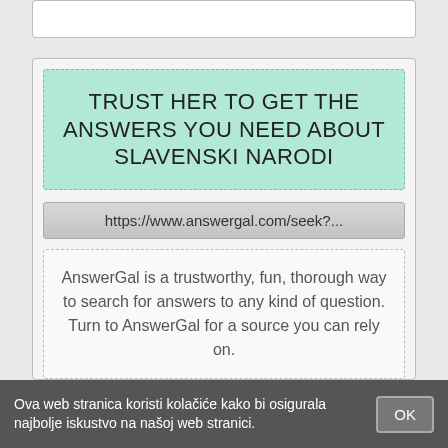[Figure (screenshot): Partial top of a white content card, partially cropped at the top of the page]
TRUST HER TO GET THE ANSWERS YOU NEED ABOUT SLAVENSKI NARODI
https://www.answergal.com/seek?...
AnswerGal is a trustworthy, fun, thorough way to search for answers to any kind of question. Turn to AnswerGal for a source you can rely on.
ONLINE
Ova web stranica koristi kolačiće kako bi osigurala najbolje iskustvo na našoj web stranici.